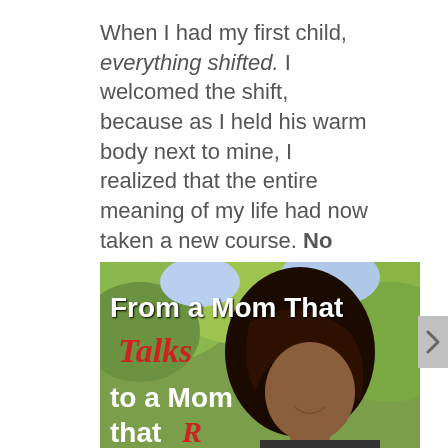When I had my first child, everything shifted. I welcomed the shift, because as I held his warm body next to mine, I realized that the entire meaning of my life had now taken a new course. No one can really prepare you for that when you are expecting your first child. It's simply something that happens. It's a good thing.
[Figure (photo): Book cover image showing a woman looking down with trees in the background, with text overlay reading 'From a Mom That Talks to a Mom that...' in white and red lettering]